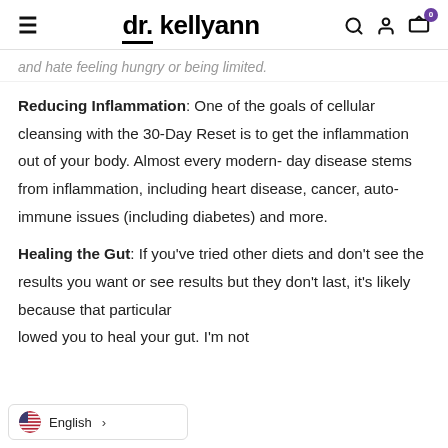dr. kellyann
…and hate feeling hungry or being limited.
Reducing Inflammation: One of the goals of cellular cleansing with the 30-Day Reset is to get the inflammation out of your body. Almost every modern- day disease stems from inflammation, including heart disease, cancer, auto-immune issues (including diabetes) and more.
Healing the Gut: If you've tried other diets and don't see the results you want or see results but they don't last, it's likely because that particular …lowed you to heal your gut. I'm not